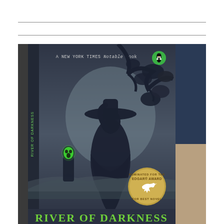[Figure (photo): A photograph of a book cover for 'River of Darkness' held in someone's hands. The book cover features a dark blue-grey silhouette scene with a woman in a wide-brimmed hat and a figure with a green glowing face/mask beneath trees. Text on the cover reads 'A NEW YORK TIMES Notable Book' at the top, a Penguin Books logo (green circle with penguin) in the upper right, a gold circular badge reading 'NOMINATED FOR THE EDGAR AWARD FOR BEST NOVEL', and the title 'RIVER OF DARKNESS' in large green letters at the bottom. A person's arm and legs are partially visible in the background.]